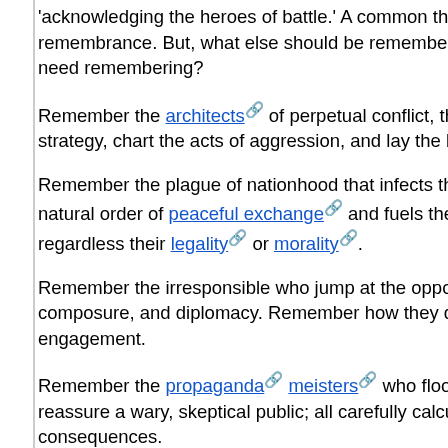'acknowledging the heroes of battle.' A common theme e... remembrance. But, what else should be remembered? A... need remembering?
Remember the architects of perpetual conflict, the sche... strategy, chart the acts of aggression, and lay the bluepr...
Remember the plague of nationhood that infects the inna... natural order of peaceful exchange and fuels the slavis... regardless their legality or morality.
Remember the irresponsible who jump at the opportunity... composure, and diplomacy. Remember how they delega... engagement.
Remember the propaganda meisters who flood the a... reassure a wary, skeptical public; all carefully calculated... consequences.
Remember the Masters of War who profit from this hei... and tarnished wealth. Watch them flaunt their booty paid... children not their own.
Remember those who consider it essential that defense... committing pre-emptive acts of aggression against pe...